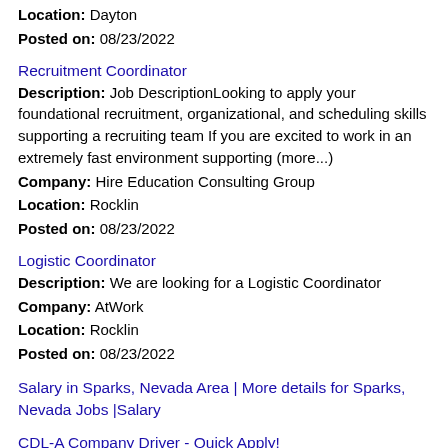Location: Dayton
Posted on: 08/23/2022
Recruitment Coordinator
Description: Job DescriptionLooking to apply your foundational recruitment, organizational, and scheduling skills supporting a recruiting team If you are excited to work in an extremely fast environment supporting (more...)
Company: Hire Education Consulting Group
Location: Rocklin
Posted on: 08/23/2022
Logistic Coordinator
Description: We are looking for a Logistic Coordinator
Company: AtWork
Location: Rocklin
Posted on: 08/23/2022
Salary in Sparks, Nevada Area | More details for Sparks, Nevada Jobs |Salary
CDL-A Company Driver - Quick Apply!
Description: Hiring CDL Company Drivers in Dayton, NV. Apply once and choose a trucking job that works for you. Get home